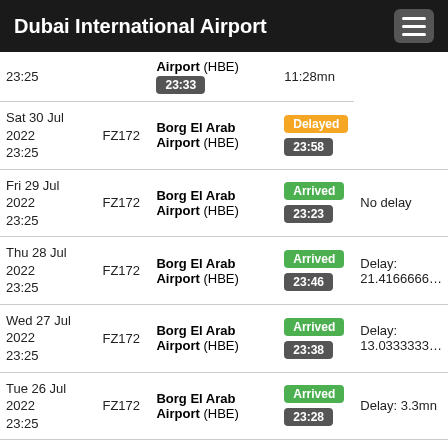Dubai International Airport
| Date | Flight | Destination | Status/Time | Delay |
| --- | --- | --- | --- | --- |
| 23:25 |  | Airport (HBE) | 23:33 | 11:28mn |
| Sat 30 Jul 2022
23:25 | FZ172 | Borg El Arab Airport (HBE) | Delayed
23:58 |  |
| Fri 29 Jul 2022
23:25 | FZ172 | Borg El Arab Airport (HBE) | Arrived
23:23 | No delay |
| Thu 28 Jul 2022
23:25 | FZ172 | Borg El Arab Airport (HBE) | Arrived
23:46 | Delay: 21.4166666… |
| Wed 27 Jul 2022
23:25 | FZ172 | Borg El Arab Airport (HBE) | Arrived
23:38 | Delay: 13.0333333… |
| Tue 26 Jul 2022
23:25 | FZ172 | Borg El Arab Airport (HBE) | Arrived
23:28 | Delay: 3.3mn |
| Mon 25 Jul 2022
23:25 | FZ172 | Borg El Arab Airport (HBE) | Arrived
23:24 | No delay |
| Sun 24 Jul | FZ172 | Borg El Arab | Delayed |  |